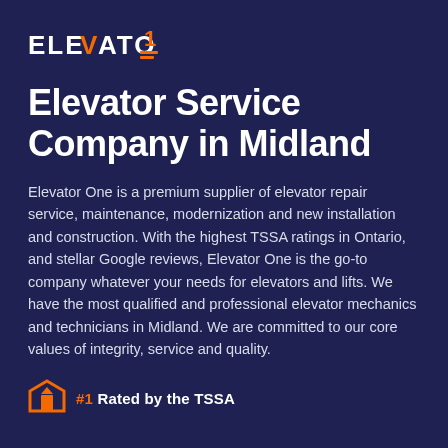[Figure (logo): Elevator One logo — bold white uppercase text ELEVATOR with orange number 1 and orange horizontal lines icon on dark navy background]
Elevator Service Company in Midland
Elevator One is a premium supplier of elevator repair service, maintenance, modernization and new installation and construction. With the highest TSSA ratings in Ontario, and stellar Google reviews, Elevator One is the go-to company whatever your needs for elevators and lifts. We have the most qualified and professional elevator mechanics and technicians in Midland. We are committed to our core values of integrity, service and quality.
#1 Rated by the TSSA